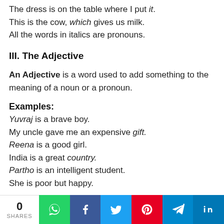The dress is on the table where I put it.
This is the cow, which gives us milk.
All the words in italics are pronouns.
III. The Adjective
An Adjective is a word used to add something to the meaning of a noun or a pronoun.
Examples:
Yuvraj is a brave boy.
My uncle gave me an expensive gift.
Reena is a good girl.
India is a great country.
Partho is an intelligent student.
She is poor but happy.